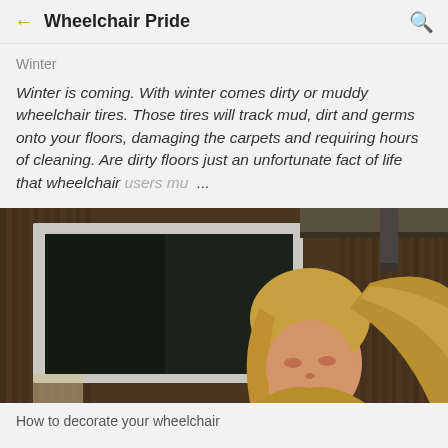Wheelchair Pride
Winter
Winter is coming. With winter comes dirty or muddy wheelchair tires. Those tires will track mud, dirt and germs onto your floors, damaging the carpets and requiring hours of cleaning. Are dirty floors just an unfortunate fact of life that wheelchair users mu ...
[Figure (photo): A woman with long blonde hair looking upward, standing outside near a wooden wall and a white-framed window with a dark glass pane.]
How to decorate your wheelchair